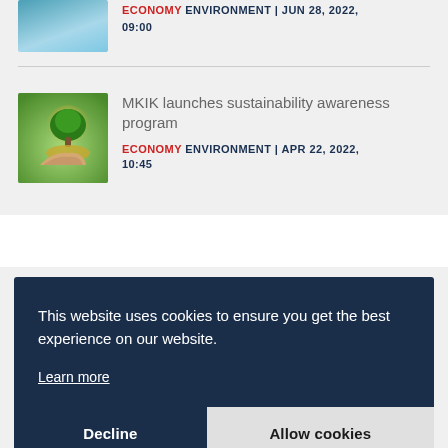[Figure (photo): Thumbnail image of a person near blue water/pool]
ECONOMY ENVIRONMENT | JUN 28, 2022, 09:00
[Figure (photo): Thumbnail of hands holding a glowing tree growing from coins on a green background]
MKIK launches sustainability awareness program
ECONOMY ENVIRONMENT | APR 22, 2022, 10:45
This website uses cookies to ensure you get the best experience on our website.
Learn more
Decline
Allow cookies